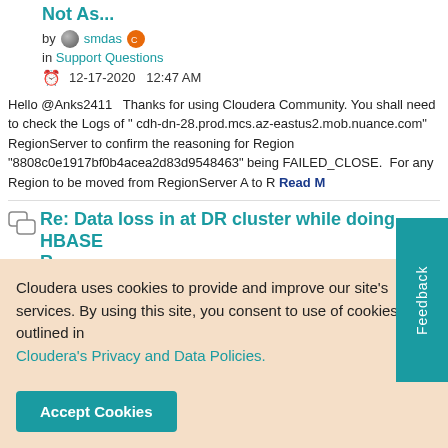Not As...
by smdas in Support Questions 12-17-2020 12:47 AM
Hello @Anks2411   Thanks for using Cloudera Community. You shall need to check the Logs of " cdh-dn-28.prod.mcs.az-eastus2.mob.nuance.com" RegionServer to confirm the reasoning for Region "8808c0e1917bf0b4acea2d83d9548463" being FAILED_CLOSE.  For any Region to be moved from RegionServer A to R  Read M...
Re: Data loss in at DR cluster while doing HBASE R...
by smdas
Cloudera uses cookies to provide and improve our site's services. By using this site, you consent to use of cookies as outlined in Cloudera's Privacy and Data Policies.
Accept Cookies